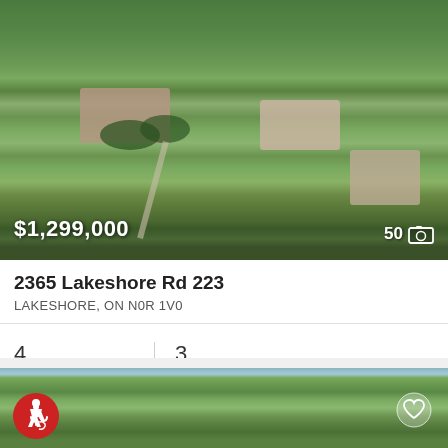[Figure (photo): Aerial drone photo of residential properties on rural green land with fields, houses, driveways and trees.]
$1,299,000
50
2365 Lakeshore Rd 223
LAKESHORE, ON N0R 1V0
4 Beds
3 Baths
RE/MAX Preferred Realty Ltd. - 585
[Figure (photo): Aerial photo of flat rural farmland and fields with greenery and sky visible at top.]